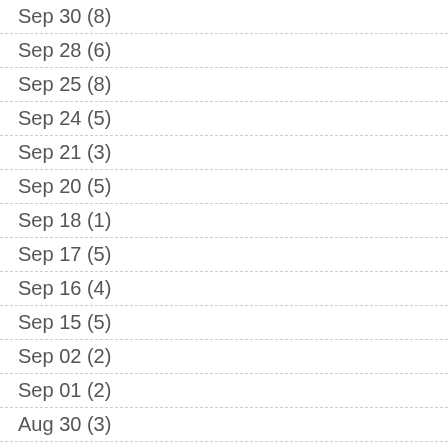Sep 30 (8)
Sep 28 (6)
Sep 25 (8)
Sep 24 (5)
Sep 21 (3)
Sep 20 (5)
Sep 18 (1)
Sep 17 (5)
Sep 16 (4)
Sep 15 (5)
Sep 02 (2)
Sep 01 (2)
Aug 30 (3)
Aug 29 (5)
Aug 28 (4)
Aug 27 (3)
Aug 26 (3)
Aug 25 (3)
Aug 22 (3)
Aug 21 (3)